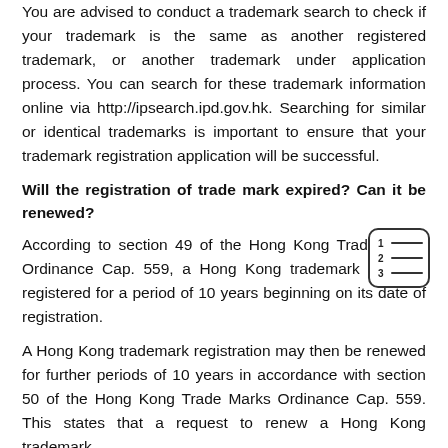You are advised to conduct a trademark search to check if your trademark is the same as another registered trademark, or another trademark under application process. You can search for these trademark information online via http://ipsearch.ipd.gov.hk. Searching for similar or identical trademarks is important to ensure that your trademark registration application will be successful.
Will the registration of trade mark expired? Can it be renewed?
According to section 49 of the Hong Kong Trade Marks Ordinance Cap. 559, a Hong Kong trademark shall be registered for a period of 10 years beginning on its date of registration.
A Hong Kong trademark registration may then be renewed for further periods of 10 years in accordance with section 50 of the Hong Kong Trade Marks Ordinance Cap. 559. This states that a request to renew a Hong Kong trademark